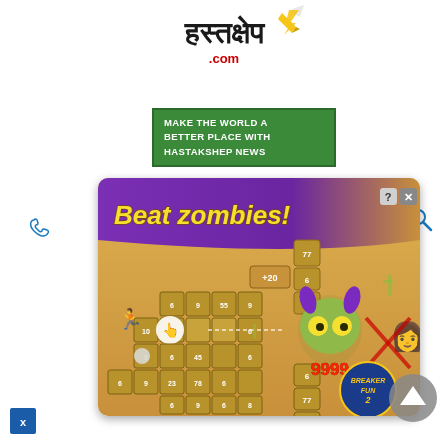[Figure (logo): Hastakshep.com logo with Hindi text, pencil icon, and .com in red]
[Figure (infographic): Green banner: MAKE THE WORLD A BETTER PLACE WITH HASTAKSHEP NEWS]
[Figure (screenshot): Beat zombies! game advertisement showing a grid-based zombie game with score 9999, Breaker Fun 2 logo, zombie boss character, and game characters. Controls show ? and X buttons.]
[Figure (other): Scroll-to-top button (grey circle with triangle arrow)]
[Figure (other): Blue X close button at bottom left]